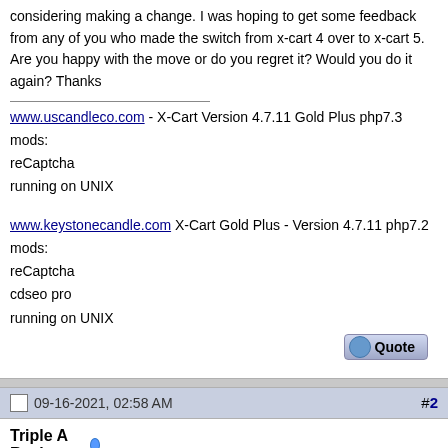considering making a change. I was hoping to get some feedback from any of you who made the switch from x-cart 4 over to x-cart 5. Are you happy with the move or do you regret it? Would you do it again? Thanks
www.uscandleco.com - X-Cart Version 4.7.11 Gold Plus php7.3
mods:
reCaptcha
running on UNIX
www.keystonecandle.com X-Cart Gold Plus - Version 4.7.11 php7.2
mods:
reCaptcha
cdseo pro
running on UNIX
09-16-2021, 02:58 AM
#2
Triple A Racing
Join Date: Jul 2008
Location: Manchester UK
Posts: 1,013
X-Wizard
Re: any buyer remorse?
https://forum.x-cart.com/showthread.php?t=78078
Dev Store & Live Store XC Business 5.4.1.35
Server: Ubuntu 20.04.4 LTS (HWE 5.13.0.51.58 Kernel)) / Plesk